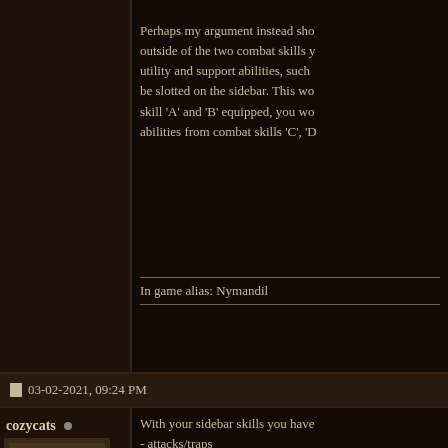Perhaps my argument instead sho... outside of the two combat skills y... utility and support abilities, such ... be slotted on the sidebar. This wo... skill 'A' and 'B' equipped, you wo... abilities from combat skills 'C', 'D...
In game alias: Nymandil
03-02-2021, 09:24 PM
cozycats • Member
With your sidebar skills you have - attacks/traps - defense - healing/armor helping - resurrection - curing diseases and broken bon...